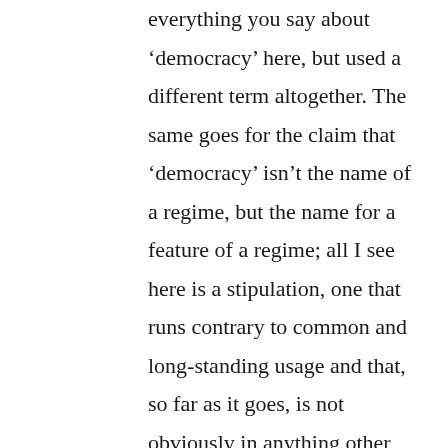everything you say about 'democracy' here, but used a different term altogether. The same goes for the claim that 'democracy' isn't the name of a regime, but the name for a feature of a regime; all I see here is a stipulation, one that runs contrary to common and long-standing usage and that, so far as it goes, is not obviously in anything other than verbal conflict with that usage. One might think that it makes for clearer understanding to